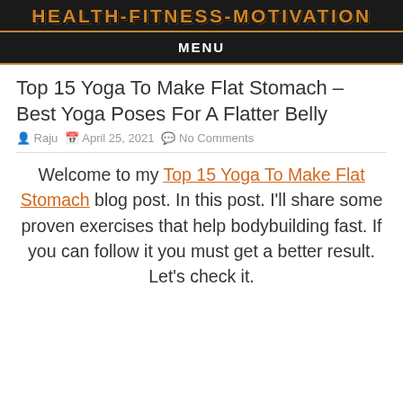HEALTH-FITNESS-MOTIVATION
MENU
Top 15 Yoga To Make Flat Stomach – Best Yoga Poses For A Flatter Belly
Raju  April 25, 2021  No Comments
Welcome to my Top 15 Yoga To Make Flat Stomach blog post. In this post. I'll share some proven exercises that help bodybuilding fast. If you can follow it you must get a better result. Let's check it.